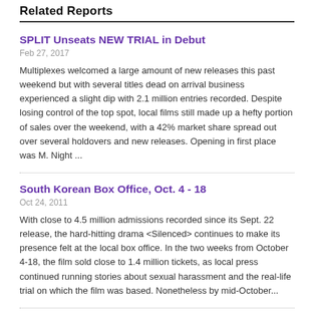Related Reports
SPLIT Unseats NEW TRIAL in Debut
Feb 27, 2017
Multiplexes welcomed a large amount of new releases this past weekend but with several titles dead on arrival business experienced a slight dip with 2.1 million entries recorded. Despite losing control of the top spot, local films still made up a hefty portion of sales over the weekend, with a 42% market share spread out over several holdovers and new releases. Opening in first place was M. Night ...
South Korean Box Office, Oct. 4 - 18
Oct 24, 2011
With close to 4.5 million admissions recorded since its Sept. 22 release, the hard-hitting drama <Silenced> continues to make its presence felt at the local box office. In the two weeks from October 4-18, the film sold close to 1.4 million tickets, as local press continued running stories about sexual harassment and the real-life trial on which the film was based. Nonetheless by mid-October...